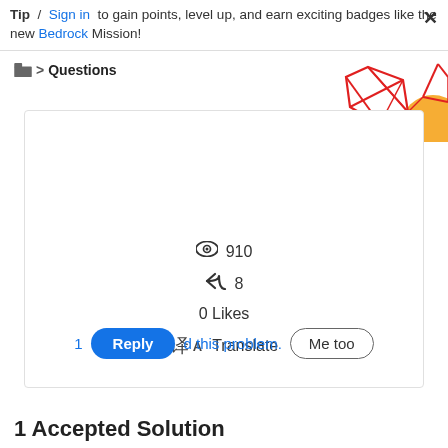Tip / Sign in to gain points, level up, and earn exciting badges like the new Bedrock Mission!
Questions
[Figure (illustration): Decorative geometric illustration with red lines forming diamond shapes and an orange circle in the top-right corner]
910
8
0 Likes
Translate
1 Reply d this problem. Me too
1 Accepted Solution